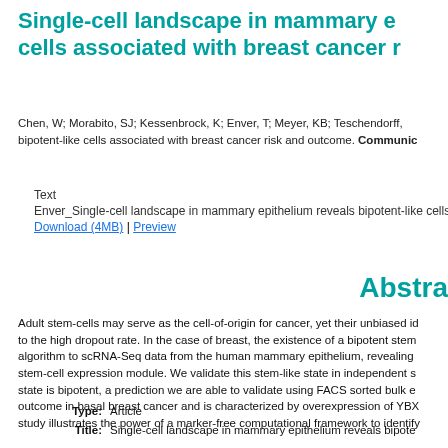Single-cell landscape in mammary epithelium reveals bipotent-like cells associated with breast cancer risk and outcome
Chen, W; Morabito, SJ; Kessenbrock, K; Enver, T; Meyer, KB; Teschendorff, ... bipotent-like cells associated with breast cancer risk and outcome. Communications Biology.
Text
Enver_Single-cell landscape in mammary epithelium reveals bipotent-like cells asso...
Download (4MB) | Preview
Abstract
Adult stem-cells may serve as the cell-of-origin for cancer, yet their unbiased identification is challenged by the high dropout rate. In the case of breast, the existence of a bipotent stem cell is debated. We apply an algorithm to scRNA-Seq data from the human mammary epithelium, revealing a rare stem-like state with a stem-cell expression module. We validate this stem-like state in independent single-cell datasets, showing that this state is bipotent, a prediction we are able to validate using FACS sorted bulk expression data. This stem-like outcome in basal breast cancer and is characterized by overexpression of YBX1 and other oncogenes. Our study illustrates the power of a marker-free computational framework to identify...
Type: Article
Title: Single-cell landscape in mammary epithelium reveals bipote...